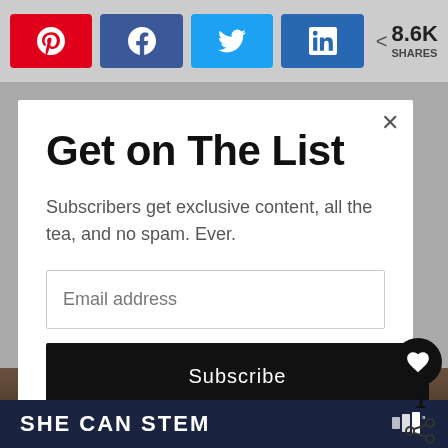Share buttons: Pinterest, Facebook, Twitter, LinkedIn | 8.6K SHARES
Get on The List
Subscribers get exclusive content, all the tea, and no spam. Ever.
Email address
Subscribe
SHE CAN STEM